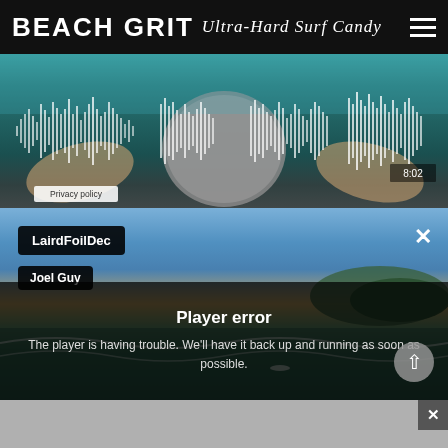[Figure (screenshot): Beach Grit website header with logo text 'BEACH GRIT' and script subtitle 'Ultra-Hard Surf Candy' on dark background with hamburger menu icon]
[Figure (screenshot): Audio player with waveform visualization overlaid on photo of hands holding a large round rock/stone. Shows '8:02' time stamp and 'Privacy policy' label. Waveform bars are white/semi-transparent.]
[Figure (screenshot): Video player showing aerial surf/ocean scene with 'LairdFoilDec' title tag and 'Joel Guy' author tag. Player error overlay reads 'Player error - The player is having trouble. We'll have it back up and running as soon as possible.' with X close button and scroll-up arrow button.]
[Figure (screenshot): Grey advertisement banner at bottom with X close button in top right corner.]